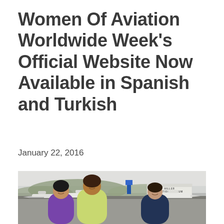Women Of Aviation Worldwide Week’s Official Website Now Available in Spanish and Turkish
January 22, 2016
[Figure (photo): Three women standing together outdoors on an airport tarmac with small aircraft visible in the background and a sign reading 'Hiller Aviation Museum' on a building behind them.]